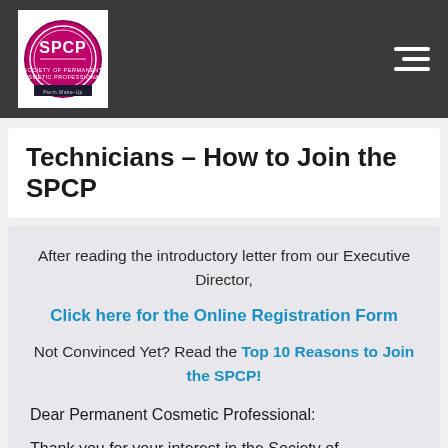SPCP – Society of Permanent Cosmetic Professionals
Technicians – How to Join the SPCP
After reading the introductory letter from our Executive Director,
Click here for the Online Registration Form
Not Convinced Yet? Read the Top 10 Reasons to Join the SPCP!
Dear Permanent Cosmetic Professional:
Thank you for your interest in the Society of Permanent Cosmetic Professionals. The SPCP is a sound, nonprofit international professional association owned, operated, and controlled by its members.